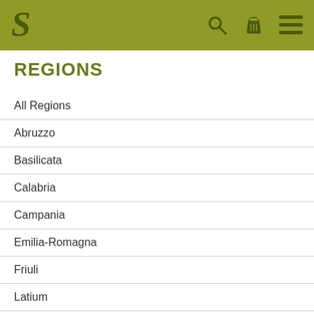S [logo] [search icon] [cart icon] [menu icon]
REGIONS
All Regions
Abruzzo
Basilicata
Calabria
Campania
Emilia-Romagna
Friuli
Latium
Liguria
Lombardy
Marche